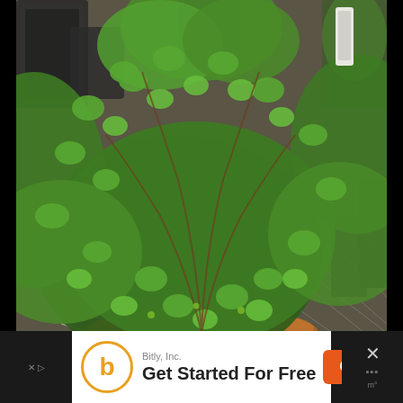[Figure (photo): A garden scene showing a round bushy plant with small round green leaves (moneywort or similar trailing plant) surrounding a stone rabbit figurine in the center. In the background are black plastic plant containers and other greenery in what appears to be a nursery or garden center setting.]
[Figure (other): Advertisement banner for Bitly, Inc. showing orange circular logo with letter B, text 'Bitly, Inc.' and 'Get Started For Free' with an orange 'Open' button. Black bars on left and right sides with a close X button on the right.]